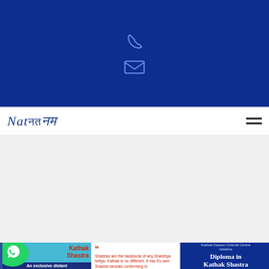[Figure (screenshot): Dark blue banner with phone icon and email/envelope icon centered]
[Figure (logo): Natnam logo in italic serif font with Hindi script, navigation bar with hamburger menu]
[Figure (screenshot): Grey empty content area]
[Figure (infographic): Three cards at bottom: Card 1 with WhatsApp icon and Kathak Shastra title on blue background; Card 2 with quote about Shastras being backbone of Shastriya Nritya; Card 3 with Diploma in Kathak Shastra on dark blue background]